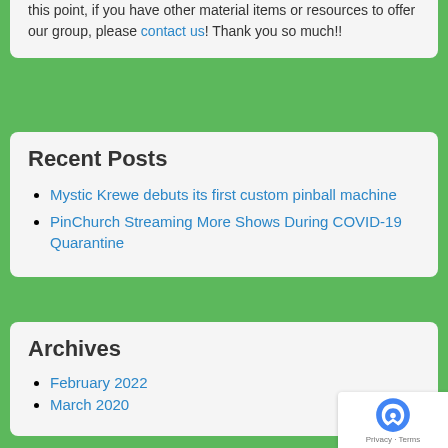this point, if you have other material items or resources to offer our group, please contact us! Thank you so much!!
Recent Posts
Mystic Krewe debuts its first custom pinball machine
PinChurch Streaming More Shows During COVID-19 Quarantine
Archives
February 2022
March 2020